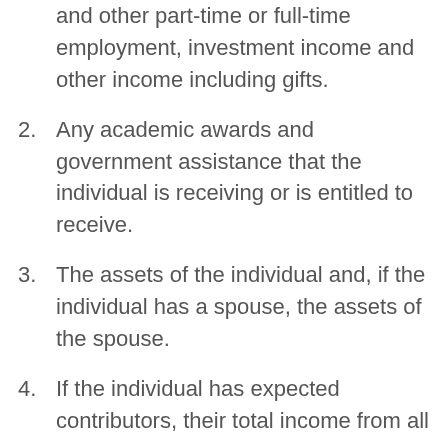and other part-time or full-time employment, investment income and other income including gifts.
2. Any academic awards and government assistance that the individual is receiving or is entitled to receive.
3. The assets of the individual and, if the individual has a spouse, the assets of the spouse.
4. If the individual has expected contributors, their total income from all sources.
5. If the individual has expected contributors, their personal income tax payments and employment insurance and pension plan